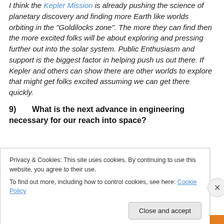I think the Kepler Mission is already pushing the science of planetary discovery and finding more Earth like worlds orbiting in the “Goldilocks zone”. The more they can find then the more excited folks will be about exploring and pressing further out into the solar system. Public Enthusiasm and support is the biggest factor in helping push us out there. If Kepler and others can show there are other worlds to explore that might get folks excited assuming we can get there quickly.
9)   What is the next advance in engineering necessary for our reach into space?
Privacy & Cookies: This site uses cookies. By continuing to use this website, you agree to their use. To find out more, including how to control cookies, see here: Cookie Policy